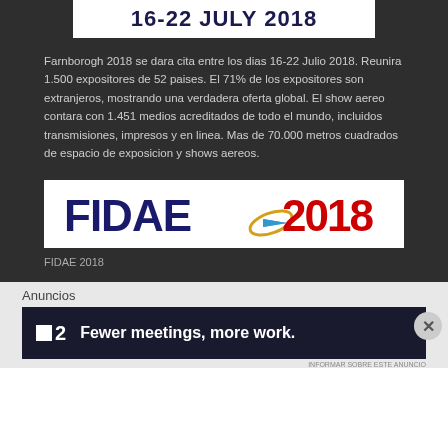[Figure (logo): Farnborough 2018 banner showing '16-22 JULY 2018' in bold dark blue text on white background]
Farnborogh 2018 se dara cita entre los dias 16-22 Julio 2018. Reunira 1.500 expositores de 52 paises. El 71% de los expositores son extranjeros, mostrando una verdadera oferta global. El show aereo contara con 1.451 medios acreditados de todo el mundo, incluidos transmisiones, impresos y en linea. Mas de 70.000 metros cuadrados de espacio de exposicion y shows aereos.
[Figure (logo): FIDAE 2018 logo on white background with blue FIDAE text, blue airplane arrow, and red 2018 text with circular orbit graphic]
FIDAE 2018
Anuncios
[Figure (screenshot): Advertisement banner: dark background with white box logo, number 2, and text 'Fewer meetings, more work.']